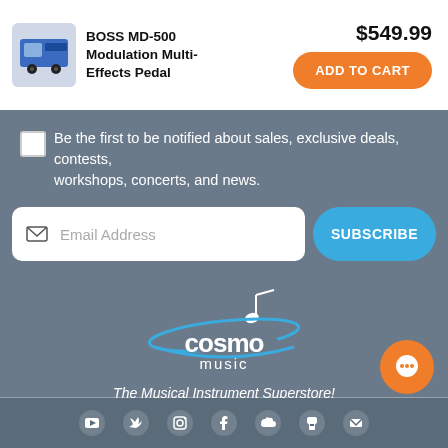[Figure (photo): BOSS MD-500 Modulation Multi-Effects Pedal product image thumbnail]
BOSS MD-500 Modulation Multi-Effects Pedal
$549.99
ADD TO CART
Be the first to be notified about sales, exclusive deals, contests, workshops, concerts, and news.
Email Address
SUBSCRIBE
[Figure (logo): Cosmo Music logo with music note and swoosh graphic]
The Musical Instrument Superstore!
[Figure (illustration): Orange chat bubble icon button in bottom right]
[Figure (illustration): Social media icons row at bottom: YouTube, Twitter, Instagram, Facebook, and others]